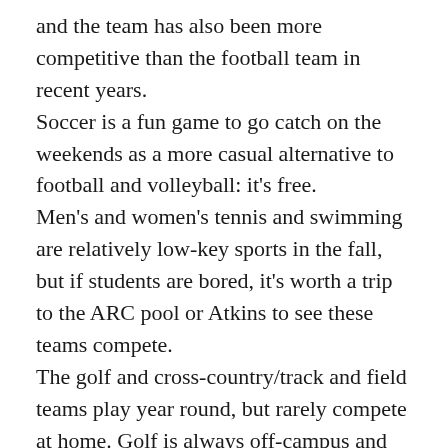and the team has also been more competitive than the football team in recent years. Soccer is a fun game to go catch on the weekends as a more casual alternative to football and volleyball: it's free. Men's and women's tennis and swimming are relatively low-key sports in the fall, but if students are bored, it's worth a trip to the ARC pool or Atkins to see these teams compete. The golf and cross-country/track and field teams play year round, but rarely compete at home. Golf is always off-campus and tough to get to, and while cross-country and track may be fun for former runners, they don't draw much of an audience otherwise.